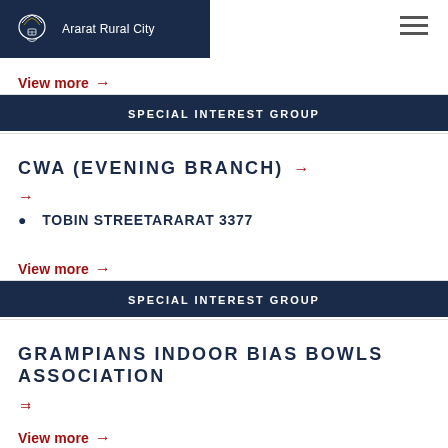Ararat Rural City
View more →
SPECIAL INTEREST GROUP
CWA (EVENING BRANCH) →
→
TOBIN STREETARARAT 3377
View more →
SPECIAL INTEREST GROUP
GRAMPIANS INDOOR BIAS BOWLS ASSOCIATION →
→
View more →